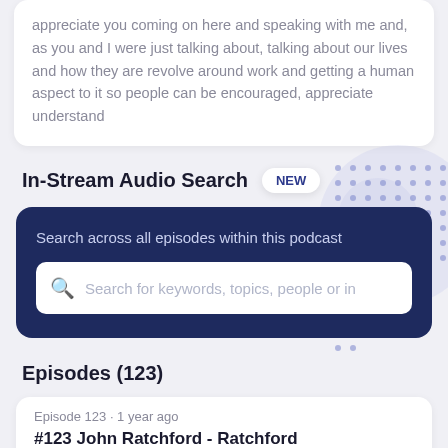appreciate you coming on here and speaking with me and, as you and I were just talking about, talking about our lives and how they are revolve around work and getting a human aspect to it so people can be encouraged, appreciate understand
In-Stream Audio Search
NEW
Search across all episodes within this podcast
Search for keywords, topics, people or in
Episodes (123)
Episode 123 · 1 year ago
#123 John Ratchford - Ratchford